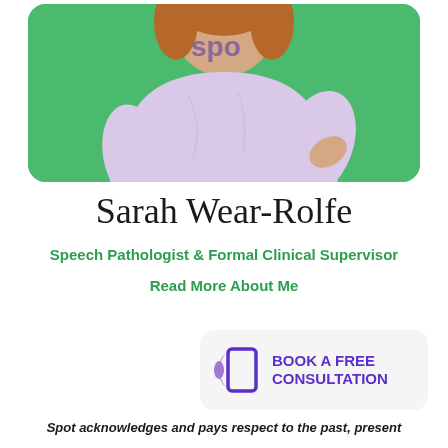[Figure (photo): Photo of Sarah Wear-Rolfe, a woman with auburn hair wearing a light purple t-shirt with 'spo' text visible, posing with hand on hip against a green background, cropped at torso level.]
Sarah Wear-Rolfe
Speech Pathologist & Formal Clinical Supervisor
Read More About Me
[Figure (infographic): Book a Free Consultation button with purple phone/book icon on light grey rounded rectangle background with purple text.]
Spot acknowledges and pays respect to the past, present